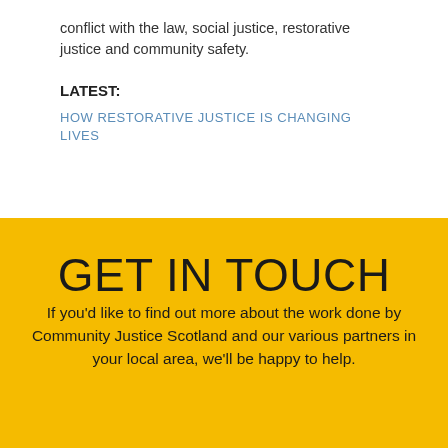conflict with the law, social justice, restorative justice and community safety.
LATEST:
HOW RESTORATIVE JUSTICE IS CHANGING LIVES
GET IN TOUCH
If you'd like to find out more about the work done by Community Justice Scotland and our various partners in your local area, we'll be happy to help.